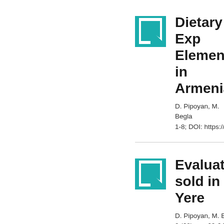[Figure (logo): Teal/cyan square icon with white arrow/bookmark shape]
Dietary Exp... Elements in... Armenia
D. Pipoyan, M. Begla... 1-8; DOI: https://doi....
[Figure (logo): Teal/cyan square icon with white arrow/bookmark shape]
Evaluation ... sold in Yere...
D. Pipoyan, M. Begla... 2 (68), pp. 60-64;